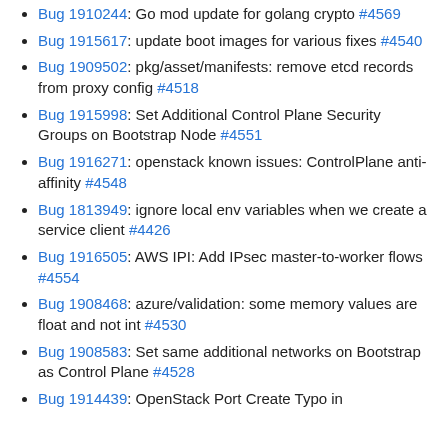Bug 1910244: Go mod update for golang crypto #4569
Bug 1915617: update boot images for various fixes #4540
Bug 1909502: pkg/asset/manifests: remove etcd records from proxy config #4518
Bug 1915998: Set Additional Control Plane Security Groups on Bootstrap Node #4551
Bug 1916271: openstack known issues: ControlPlane anti-affinity #4548
Bug 1813949: ignore local env variables when we create a service client #4426
Bug 1916505: AWS IPI: Add IPsec master-to-worker flows #4554
Bug 1908468: azure/validation: some memory values are float and not int #4530
Bug 1908583: Set same additional networks on Bootstrap as Control Plane #4528
Bug 1914439: OpenStack Port Create Typo in